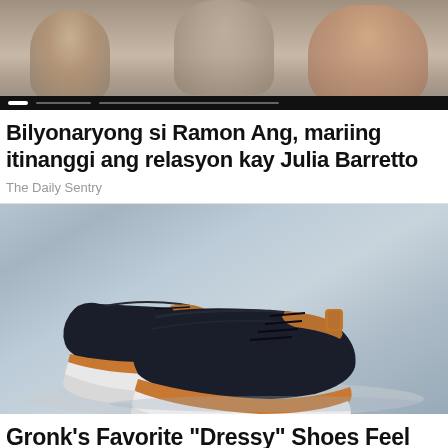[Figure (photo): Top image showing people, partially cropped, with a dark navigation bar at the bottom with pagination dots]
Bilyonaryong si Ramon Ang, mariing itinanggi ang relasyon kay Julia Barretto
The Daily Sentry
[Figure (photo): Product photo of dark navy blue casual sneakers with white soles and tan/brown leather accents, displayed on a light blue sandy surface]
Gronk's Favorite "Dressy" Shoes Feel Like